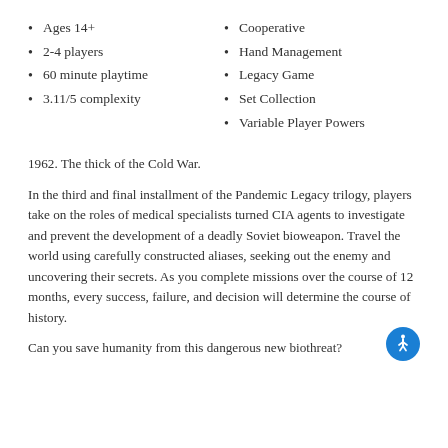Ages 14+
2-4 players
60 minute playtime
3.11/5 complexity
Cooperative
Hand Management
Legacy Game
Set Collection
Variable Player Powers
1962. The thick of the Cold War.
In the third and final installment of the Pandemic Legacy trilogy, players take on the roles of medical specialists turned CIA agents to investigate and prevent the development of a deadly Soviet bioweapon. Travel the world using carefully constructed aliases, seeking out the enemy and uncovering their secrets. As you complete missions over the course of 12 months, every success, failure, and decision will determine the course of history.
Can you save humanity from this dangerous new biothreat?